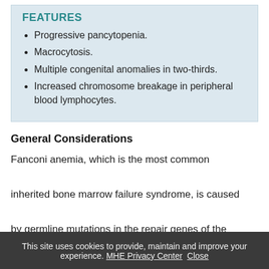FEATURES
Progressive pancytopenia.
Macrocytosis.
Multiple congenital anomalies in two-thirds.
Increased chromosome breakage in peripheral blood lymphocytes.
General Considerations
Fanconi anemia, which is the most common inherited bone marrow failure syndrome, is caused by germline mutations in the repair genes of the
This site uses cookies to provide, maintain and improve your experience. MHE Privacy Center Close